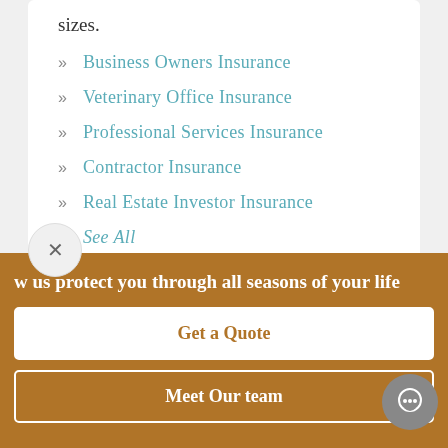sizes.
Business Owners Insurance
Veterinary Office Insurance
Professional Services Insurance
Contractor Insurance
Real Estate Investor Insurance
See All
w us protect you through all seasons of your life
Get a Quote
Meet Our team